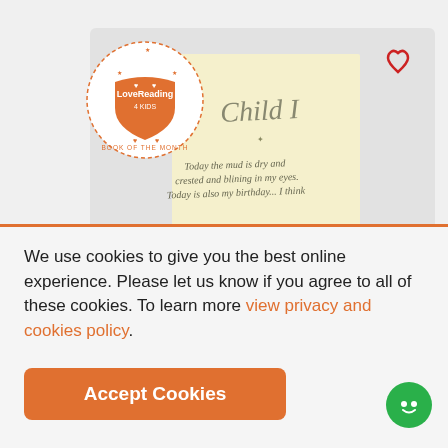[Figure (screenshot): LoveReading4Kids website screenshot showing a book cover for 'Child I' with a cream/yellow background and handwritten text. The LoveReading4Kids 'Book of the Month' badge is visible in the top-left. A heart/wishlist icon is in the top-right corner of the book card.]
We use cookies to give you the best online experience. Please let us know if you agree to all of these cookies. To learn more view privacy and cookies policy.
[Figure (other): Accept Cookies button - orange rounded rectangle button with white bold text 'Accept Cookies']
[Figure (other): Green circular chat/support bubble icon in bottom-right corner]